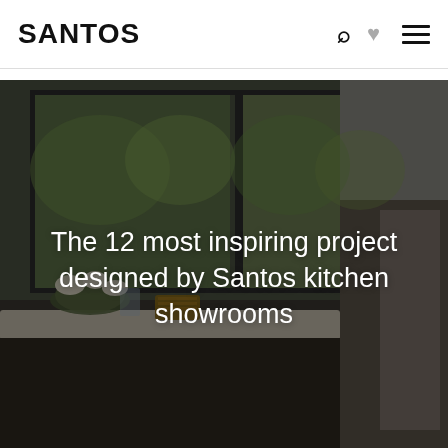SANTOS
[Figure (photo): Interior kitchen photo showing dark-framed floor-to-ceiling windows overlooking greenery, with a long countertop and decorative flowers in the foreground. Dark overlay applied. Title text overlaid: 'The 12 most inspiring projects designed by Santos kitchen showrooms']
The 12 most inspiring projects designed by Santos kitchen showrooms